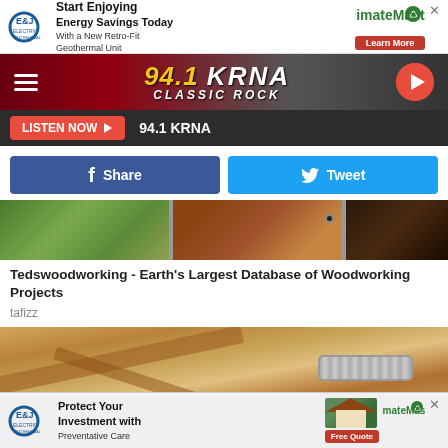[Figure (other): E&J Electric Geothermal and ClimateMaster advertisement banner - Start Enjoying Energy Savings Today With a New Retro-Fit Geothermal Unit]
[Figure (other): 94.1 KRNA Classic Rock radio station header with hamburger menu and play button]
LISTEN NOW  94.1 KRNA
f  Share      Tweet
[Figure (photo): Three-panel woodworking image strip showing greenery, wood cabinet with hardware, and dark wood door]
Tedswoodworking - Earth's Largest Database of Woodworking Projects
tafizz
[Figure (photo): Overhead view of wooden ceiling beams and HVAC ductwork in a wood-framed structure]
[Figure (other): E&J Electric Geothermal and ClimateMaster advertisement - Protect Your Investment with Preventative Care - Free Quote]